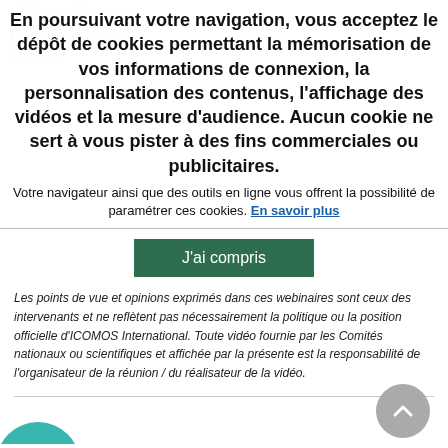En poursuivant votre navigation, vous acceptez le dépôt de cookies permettant la mémorisation de vos informations de connexion, la personnalisation des contenus, l'affichage des vidéos et la mesure d'audience. Aucun cookie ne sert à vous pister à des fins commerciales ou publicitaires.
Votre navigateur ainsi que des outils en ligne vous offrent la possibilité de paramétrer ces cookies. En savoir plus
J'ai compris
Les points de vue et opinions exprimés dans ces webinaires sont ceux des intervenants et ne reflètent pas nécessairement la politique ou la position officielle d'ICOMOS International. Toute vidéo fournie par les Comités nationaux ou scientifiques et affichée par la présente est la responsabilité de l'organisateur de la réunion / du réalisateur de la vidéo.